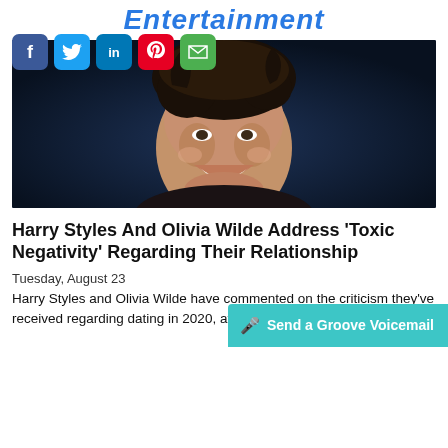Entertainment
[Figure (photo): Smiling young man with dark wavy hair against a dark blue background, wearing a dark shirt]
Harry Styles And Olivia Wilde Address 'Toxic Negativity' Regarding Their Relationship
Tuesday, August 23
Harry Styles and Olivia Wilde have commented on the criticism they've received regarding dating in 2020, after wor